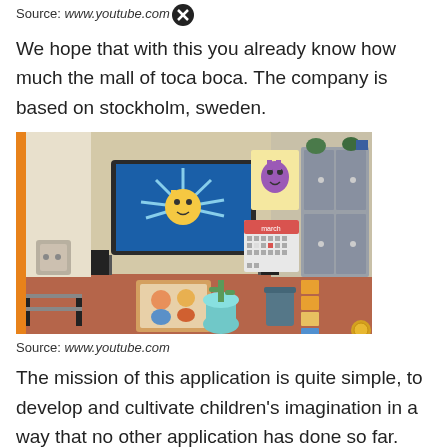Source: www.youtube.com
We hope that with this you already know how much the mall of toca boca. The company is based on stockholm, sweden.
[Figure (screenshot): Screenshot from a Toca Boca game showing a room interior with a TV screen displaying a yellow character, lockers, a calendar, posters, and various objects on a reddish-brown floor.]
Source: www.youtube.com
The mission of this application is quite simple, to develop and cultivate children's imagination in a way that no other application has done so far. About press copyright contact us creators advertise developers terms privacy policy & safety